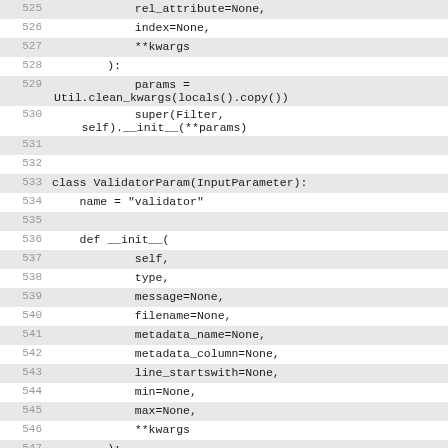Code listing lines 525-549 showing Python class definitions for ValidatorParam(InputParameter)
525: rel_attribute=None,
526:     index=None,
527:     **kwargs
528: ):
529:         params = Util.clean_kwargs(locals().copy())
530:         super(Filter, self).__init__(**params)
531:
532:
533: class ValidatorParam(InputParameter):
534:     name = "validator"
535:
536:     def __init__(
537:             self,
538:             type,
539:             message=None,
540:             filename=None,
541:             metadata_name=None,
542:             metadata_column=None,
543:             line_startswith=None,
544:             min=None,
545:             max=None,
546:             **kwargs
547:         ):
548:             params = Util.clean_kwargs(locals().copy())
549:             super(ValidatorParam,